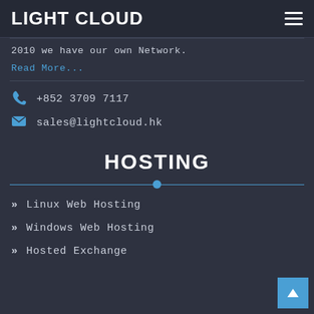LIGHT CLOUD
2010 we have our own Network.
Read More...
+852 3709 7117
sales@lightcloud.hk
HOSTING
Linux Web Hosting
Windows Web Hosting
Hosted Exchange